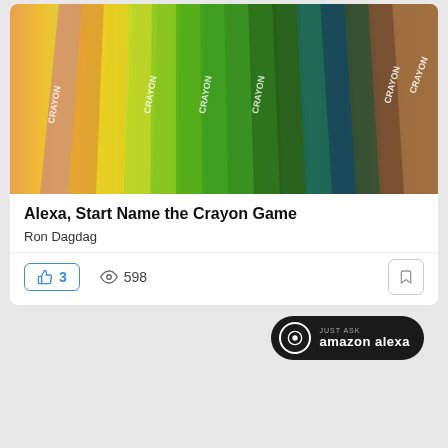[Figure (photo): Photo of colorful crayons fanned out, showing yellow, orange, various shades of green, teal, dark green, and brown crayons with 'CRAYON' text printed on them]
Alexa, Start Name the Crayon Game
Ron Dagdag
3  598
[Figure (screenshot): Teal/cyan gradient background with 'Just Ask amazon alexa' badge in top right corner and a white app icon shape at the bottom center]